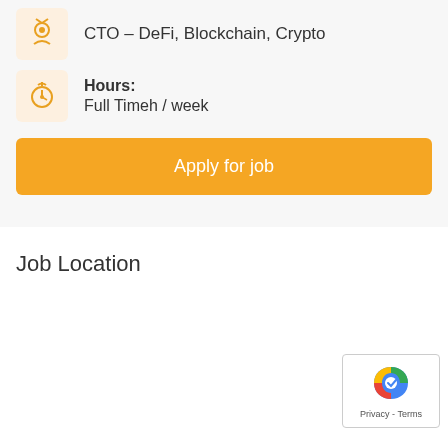CTO – DeFi, Blockchain, Crypto
Hours: Full Timeh / week
Apply for job
Job Location
[Figure (logo): reCAPTCHA badge with Google logo and Privacy - Terms text]